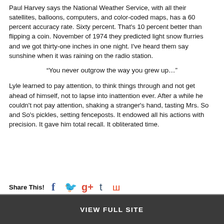Paul Harvey says the National Weather Service, with all their satellites, balloons, computers, and color-coded maps, has a 60 percent accuracy rate. Sixty percent. That's 10 percent better than flipping a coin. November of 1974 they predicted light snow flurries and we got thirty-one inches in one night. I've heard them say sunshine when it was raining on the radio station.
“You never outgrow the way you grew up…”
Lyle learned to pay attention, to think things through and not get ahead of himself, not to lapse into inattention ever. After a while he couldn't not pay attention, shaking a stranger's hand, tasting Mrs. So and So's pickles, setting fenceposts. It endowed all his actions with precision. It gave him total recall. It obliterated time.
Share This! [Facebook] [Twitter] [Google+] [Tumblr] [StumbleUpon]
VIEW FULL SITE